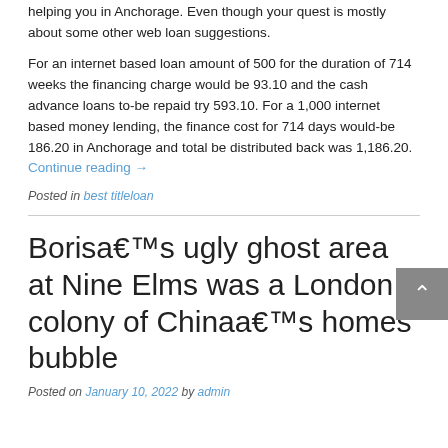helping you in Anchorage. Even though your quest is mostly about some other web loan suggestions.
For an internet based loan amount of 500 for the duration of 714 weeks the financing charge would be 93.10 and the cash advance loans to-be repaid try 593.10. For a 1,000 internet based money lending, the finance cost for 714 days would-be 186.20 in Anchorage and total be distributed back was 1,186.20. Continue reading →
Posted in best titleloan
Borisa€™s ugly ghost area at Nine Elms was a London colony of Chinaa€™s homes bubble
Posted on January 10, 2022 by admin